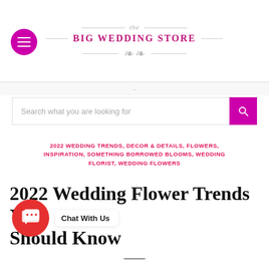[Figure (logo): The Big Wedding Store logo with decorative lines and ornament]
Search what you are looking for
2022 WEDDING TRENDS, DECOR & DETAILS, FLOWERS, INSPIRATION, SOMETHING BORROWED BLOOMS, WEDDING FLORIST, WEDDING FLOWERS
2022 Wedding Flower Trends You Should Know